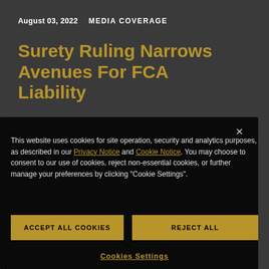August 03, 2022   MEDIA COVERAGE
Surety Ruling Narrows Avenues For FCA Liability
less than a minute
Law360
This website uses cookies for site operation, security and analytics purposes, as described in our Privacy Notice and Cookie Notice. You may choose to consent to our use of cookies, reject non-essential cookies, or further manage your preferences by clicking "Cookie Settings".
Accept All Cookies
Reject All
Cookies Settings